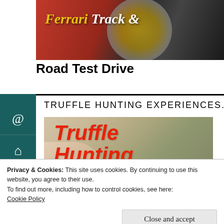[Figure (photo): Ferrari car close-up with red bodywork and yellow brake caliper visible on wheel]
Ferrari Track & Road Test Drive
TRUFFLE HUNTING EXPERIENCES.
[Figure (photo): Truffle Hunting image with large red italic text overlay reading 'Truffle Hunting']
Privacy & Cookies: This site uses cookies. By continuing to use this website, you agree to their use.
To find out more, including how to control cookies, see here: Cookie Policy
Close and accept